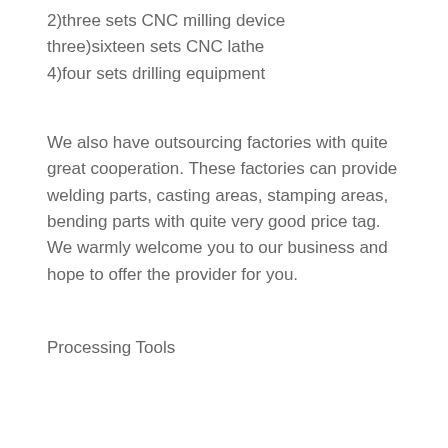2)three sets CNC milling device
three)sixteen sets CNC lathe
4)four sets drilling equipment
We also have outsourcing factories with quite great cooperation. These factories can provide welding parts, casting areas, stamping areas, bending parts with quite very good price tag.
We warmly welcome you to our business and hope to offer the provider for you.
Processing Tools